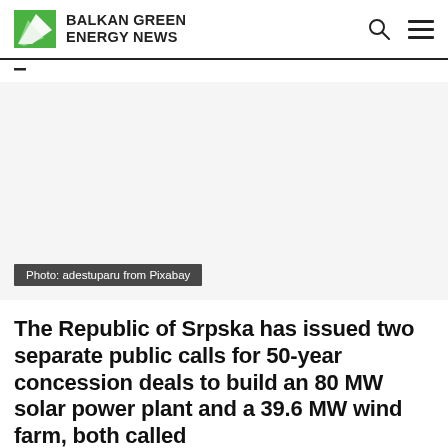BALKAN GREEN ENERGY NEWS
[Figure (photo): Large image placeholder (white/light grey area representing a photo, likely a solar or wind energy scene). Photo credit: adestuparu from Pixabay]
Photo: adestuparu from Pixabay
The Republic of Srpska has issued two separate public calls for 50-year concession deals to build an 80 MW solar power plant and a 39.6 MW wind farm, both called